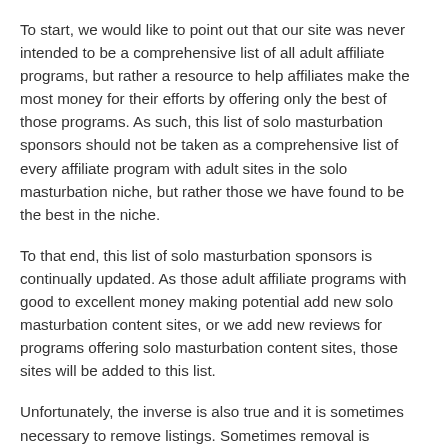To start, we would like to point out that our site was never intended to be a comprehensive list of all adult affiliate programs, but rather a resource to help affiliates make the most money for their efforts by offering only the best of those programs. As such, this list of solo masturbation sponsors should not be taken as a comprehensive list of every affiliate program with adult sites in the solo masturbation niche, but rather those we have found to be the best in the niche.
To that end, this list of solo masturbation sponsors is continually updated. As those adult affiliate programs with good to excellent money making potential add new solo masturbation content sites, or we add new reviews for programs offering solo masturbation content sites, those sites will be added to this list.
Unfortunately, the inverse is also true and it is sometimes necessary to remove listings. Sometimes removal is predicated by a program closing or discontinuing their solo masturbation content sites, but typically is the result of our downgrading their review for under-performing. In rare cases, removal is the result